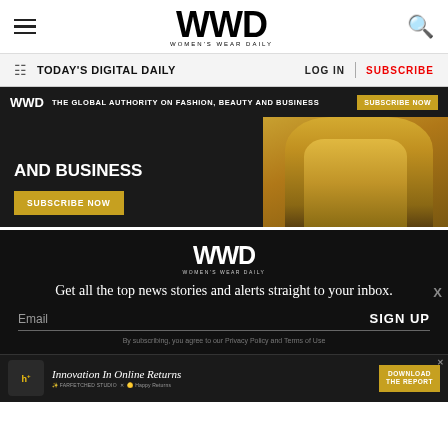WWD WOMEN'S WEAR DAILY
TODAY'S DIGITAL DAILY | LOG IN | SUBSCRIBE
[Figure (screenshot): WWD dark banner: 'THE GLOBAL AUTHORITY ON FASHION, BEAUTY AND BUSINESS' with SUBSCRIBE NOW button]
[Figure (screenshot): WWD promotional block with 'AND BUSINESS' heading and SUBSCRIBE NOW button, woman in yellow dress with yellow bag on right side]
[Figure (screenshot): WWD email signup block: 'Get all the top news stories and alerts straight to your inbox.' with Email field and SIGN UP button]
[Figure (screenshot): Bottom advertisement: 'Innovation In Online Returns' with DOWNLOAD THE REPORT button, Happy Returns branding]